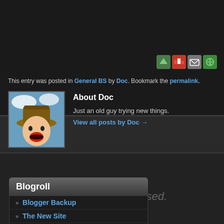This entry was posted in General BS by Doc. Bookmark the permalink.
About Doc
Just an old guy trying new things.
View all posts by Doc →
Comments are closed.
Blogroll
Blogger Backup
The New Site
Wordpress Backup